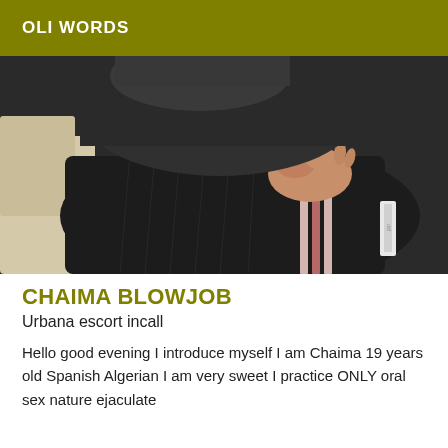OLI WORDS
[Figure (photo): Close-up photo of a person wearing dark tracksuit pants with pink/white stripes on the side, lying or seated, face not visible, taken from above.]
CHAIMA BLOWJOB
Urbana escort incall
Hello good evening I introduce myself I am Chaima 19 years old Spanish Algerian I am very sweet I practice ONLY oral sex nature ejaculate